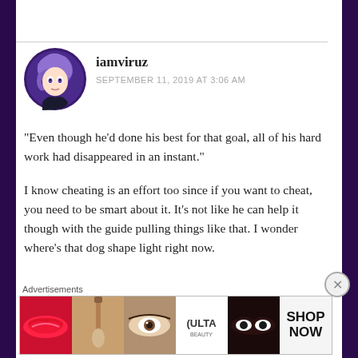[Figure (photo): User avatar: anime-style character with purple hair in a circular frame]
iamviruz
SEPTEMBER 11, 2019 AT 3:06 AM
“Even though he’d done his best for that goal, all of his hard work had disappeared in an instant.”
I know cheating is an effort too since if you want to cheat, you need to be smart about it. It’s not like he can help it though with the guide pulling things like that. I wonder where’s that dog shape light right now.
Advertisements
[Figure (photo): Ulta Beauty advertisement banner showing makeup images including lips, brush, eye, Ulta logo, eyes with dramatic makeup, and SHOP NOW text]